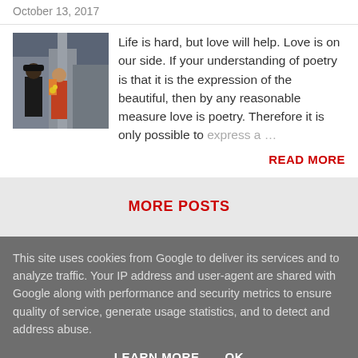October 13, 2017
[Figure (photo): Photo of two people standing outdoors, one in dark clothing and hat, one in colorful outfit, with urban background]
Life is hard, but love will help. Love is on our side. If your understanding of poetry is that it is the expression of the beautiful, then by any reasonable measure love is poetry. Therefore it is only possible to express a …
READ MORE
MORE POSTS
This site uses cookies from Google to deliver its services and to analyze traffic. Your IP address and user-agent are shared with Google along with performance and security metrics to ensure quality of service, generate usage statistics, and to detect and address abuse.
LEARN MORE
OK